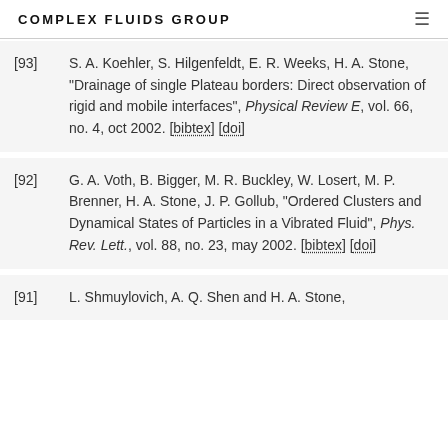COMPLEX FLUIDS GROUP
[93] S. A. Koehler, S. Hilgenfeldt, E. R. Weeks, H. A. Stone, "Drainage of single Plateau borders: Direct observation of rigid and mobile interfaces", Physical Review E, vol. 66, no. 4, oct 2002. [bibtex] [doi]
[92] G. A. Voth, B. Bigger, M. R. Buckley, W. Losert, M. P. Brenner, H. A. Stone, J. P. Gollub, "Ordered Clusters and Dynamical States of Particles in a Vibrated Fluid", Phys. Rev. Lett., vol. 88, no. 23, may 2002. [bibtex] [doi]
[91] L. Shmuylovich, A. Q. Shen and H. A. Stone,